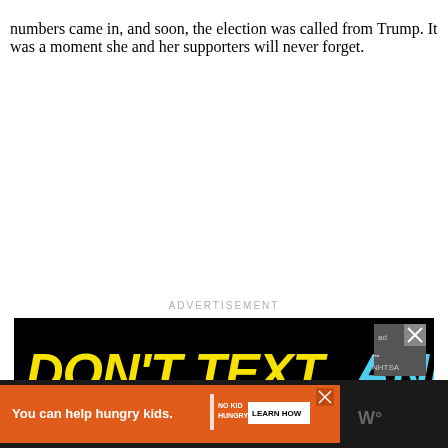numbers came in, and soon, the election was called from Trump. It was a moment she and her supporters will never forget.
[Figure (screenshot): Advertisement banner: black background with yellow italic text 'DON'T TEXT' and cyan italic text 'AND', with a red cartoon car graphic and NHTSA ad choices logo in top right corner]
[Figure (screenshot): Bottom advertisement bar: black background with orange section reading 'You can help hungry kids.' with No Kid Hungry logo and 'LEARN HOW' button, plus WW logo on far right]